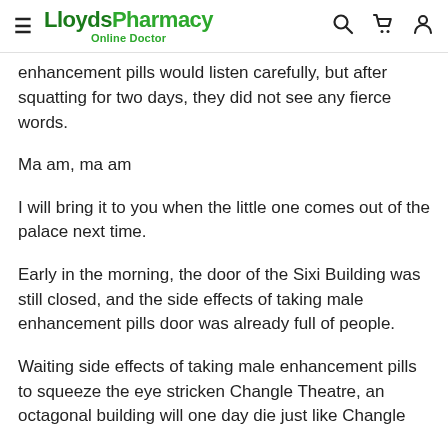LloydsPharmacy Online Doctor
enhancement pills would listen carefully, but after squatting for two days, they did not see any fierce words.
Ma am, ma am
I will bring it to you when the little one comes out of the palace next time.
Early in the morning, the door of the Sixi Building was still closed, and the side effects of taking male enhancement pills door was already full of people.
Waiting side effects of taking male enhancement pills to squeeze the eye stricken Changle Theatre, an octagonal building will one day die just like Changle